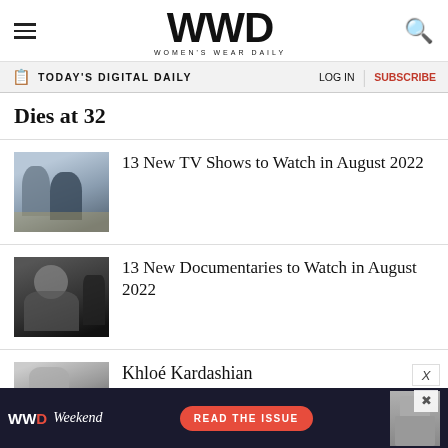WWD WOMEN'S WEAR DAILY
TODAY'S DIGITAL DAILY  LOG IN  SUBSCRIBE
Dies at 32
[Figure (photo): Two people in period costume standing in a desert landscape]
13 New TV Shows to Watch in August 2022
[Figure (photo): Black and white close-up portrait photograph]
13 New Documentaries to Watch in August 2022
[Figure (photo): Partial image of Khloé Kardashian article thumbnail]
Khloé Kardashian
[Figure (infographic): WWD Weekend advertisement banner with READ THE ISSUE button]